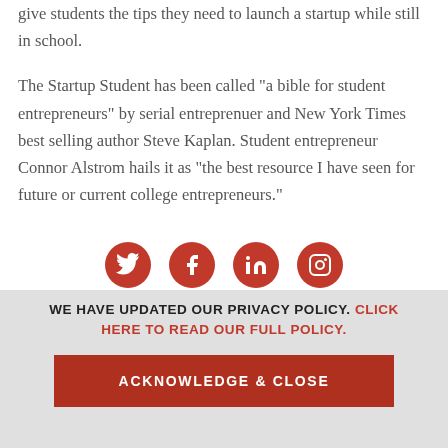give students the tips they need to launch a startup while still in school.
The Startup Student has been called "a bible for student entrepreneurs" by serial entreprenuer and New York Times best selling author Steve Kaplan. Student entrepreneur Connor Alstrom hails it as "the best resource I have seen for future or current college entrepreneurs."
[Figure (infographic): Four red circular social media icons: Twitter, Facebook, LinkedIn, Instagram]
WE HAVE UPDATED OUR PRIVACY POLICY. CLICK HERE TO READ OUR FULL POLICY.
ACKNOWLEDGE & CLOSE